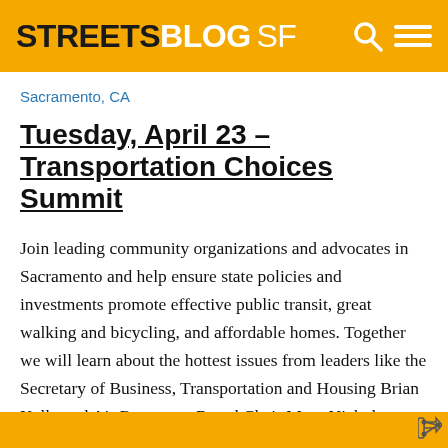STREETSBLOG SF
Sacramento, CA
Tuesday, April 23 – Transportation Choices Summit
Join leading community organizations and advocates in Sacramento and help ensure state policies and investments promote effective public transit, great walking and bicycling, and affordable homes. Together we will learn about the hottest issues from leaders like the Secretary of Business, Transportation and Housing Brian Kelly and Air Resources Board Chair Mary Nichols as well as leading advocates like James Corless of Transportation for America.
We will hone our skills and messages in breakout